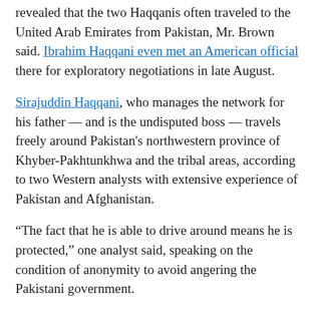revealed that the two Haqqanis often traveled to the United Arab Emirates from Pakistan, Mr. Brown said. Ibrahim Haqqani even met an American official there for exploratory negotiations in late August.
Sirajuddin Haqqani, who manages the network for his father — and is the undisputed boss — travels freely around Pakistan's northwestern province of Khyber-Pakhtunkhwa and the tribal areas, according to two Western analysts with extensive experience of Pakistan and Afghanistan.
“The fact that he is able to drive around means he is protected,” one analyst said, speaking on the condition of anonymity to avoid angering the Pakistani government.
Kashmiri and Afghan militant groups have long been supported by the Pakistani military, and many of their members carry passes that allow them to go through any police checkpoint, he said.